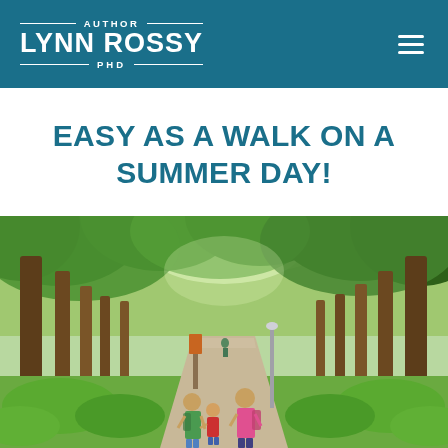AUTHOR LYNN ROSSY PHD
EASY AS A WALK ON A SUMMER DAY!
[Figure (photo): People walking on a tree-lined park path on a bright summer day. Two adults and a child walk away from the camera down a wide shaded walkway surrounded by lush green trees.]